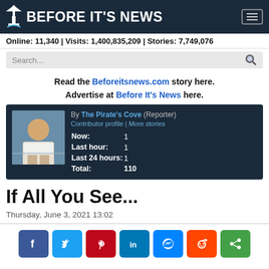BEFORE IT'S NEWS
Online: 11,340 | Visits: 1,400,835,209 | Stories: 7,749,076
[Figure (screenshot): Search bar with magnifying glass icon]
Read the Beforeitsnews.com story here. Advertise at Before It's News here.
[Figure (photo): Profile card for The Pirate's Cove Reporter with photo and stats: Now: 1, Last hour: 1, Last 24 hours: 1, Total: 110]
If All You See...
Thursday, June 3, 2021 13:02
[Figure (infographic): Social share buttons: Facebook, Twitter, Pinterest, LinkedIn, Messenger, Reddit, Share]